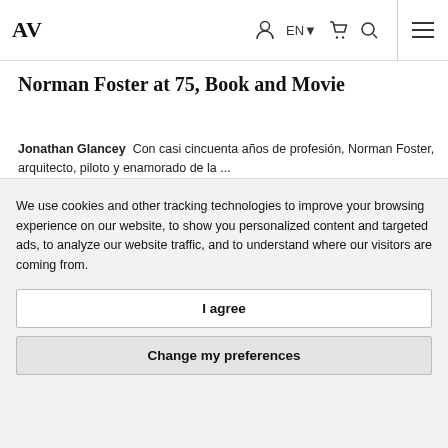AV
Norman Foster at 75, Book and Movie
Jonathan Glancey  Con casi cincuenta años de profesión, Norman Foster, arquitecto, piloto y enamorado de la ...
[Figure (photo): Sepia-toned historical photograph with text overlay reading 'Residencia de Estudiantes, Plaza, 17, Madrid. Pabellón Caracas o Pabellón de La Residencia.']
We use cookies and other tracking technologies to improve your browsing experience on our website, to show you personalized content and targeted ads, to analyze our website traffic, and to understand where our visitors are coming from.
I agree
Change my preferences